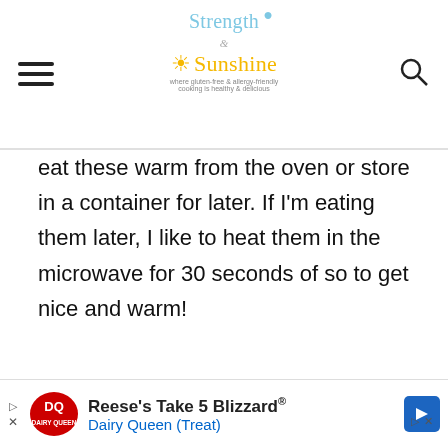Strength & Sunshine — where gluten-free & allergy-friendly cooking is healthy & delicious
eat these warm from the oven or store in a container for later. If I'm eating them later, I like to heat them in the microwave for 30 seconds of so to get nice and warm!
[Figure (photo): Advertisement for a locally owned HVAC company showing a mascot character on a red logo and an air conditioning unit. Text reads: LOCALLY OWNED AND OPERATED]
[Figure (screenshot): Dairy Queen advertisement: Reese's Take 5 Blizzard® — Dairy Queen (Treat)]